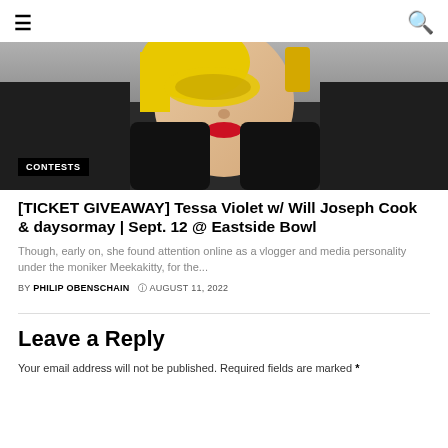≡  🔍
[Figure (photo): Close-up photo of a person with yellow hair and red lips wearing black latex gloves and outfit, face partially obscured. A black badge overlay reads 'CONTESTS'.]
[TICKET GIVEAWAY] Tessa Violet w/ Will Joseph Cook & daysormay | Sept. 12 @ Eastside Bowl
Though, early on, she found attention online as a vlogger and media personality under the moniker Meekakitty, for the...
BY PHILIP OBENSCHAIN  © AUGUST 11, 2022
Leave a Reply
Your email address will not be published. Required fields are marked *